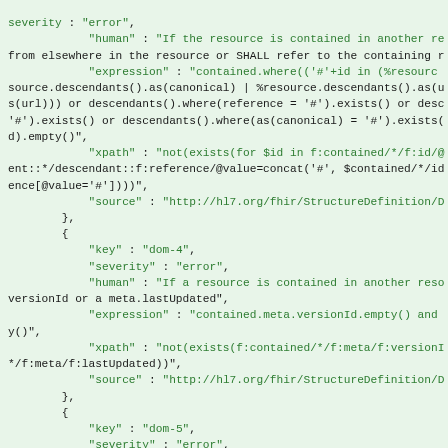JSON code fragment showing FHIR StructureDefinition constraint entries including dom-4 and dom-5 keys with severity, human, expression, xpath, and source fields.